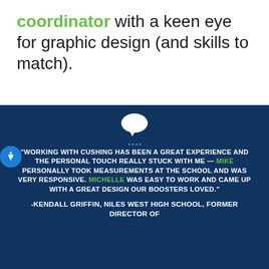coordinator with a keen eye for graphic design (and skills to match).
"WORKING WITH CUSHING HAS BEEN A GREAT EXPERIENCE AND THE PERSONAL TOUCH REALLY STUCK WITH ME — MIKE PERSONALLY TOOK MEASUREMENTS AT THE SCHOOL AND WAS VERY RESPONSIVE. MICHELLE WAS EASY TO WORK AND CAME UP WITH A GREAT DESIGN OUR BOOSTERS LOVED."
-KENDALL GRIFFIN, NILES WEST HIGH SCHOOL, FORMER DIRECTOR OF